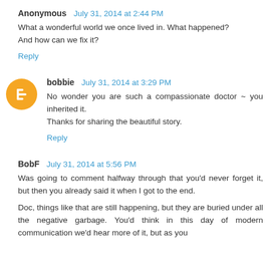Anonymous July 31, 2014 at 2:44 PM
What a wonderful world we once lived in. What happened? And how can we fix it?
Reply
bobbie July 31, 2014 at 3:29 PM
No wonder you are such a compassionate doctor ~ you inherited it.
Thanks for sharing the beautiful story.
Reply
BobF July 31, 2014 at 5:56 PM
Was going to comment halfway through that you'd never forget it, but then you already said it when I got to the end.
Doc, things like that are still happening, but they are buried under all the negative garbage. You'd think in this day of modern communication we'd hear more of it, but as you